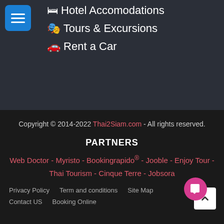🛏 Hotel Accomodations
🎭 Tours & Excursions
🚗 Rent a Car
Copyright © 2014-2022 Thai2Siam.com - All rights reserved.
PARTNERS
Web Doctor - Myristo - Bookingrapido® - Jooble - Enjoy Tour - Thai Tourism - Cinque Terre - Jobsora
Privacy Policy   Term and conditions   Site Map
Contact US   Booking Online